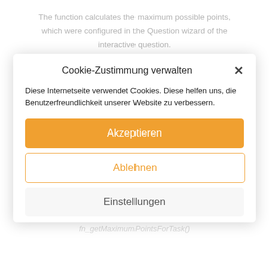The function calculates the maximum possible points, which were configured in the Question wizard of the interactive question.
[Figure (screenshot): UI widget showing 'Possible points' label with input field set to 10]
fn_getReachedPoints()
Description
The function calculates the achieved points for this question, which are achieved by the real answer of the user.
Note:
It is the number of points, which were transferred via the function
fn_getMaximumPointsForTask()
Cookie-Zustimmung verwalten
Diese Internetseite verwendet Cookies. Diese helfen uns, die Benutzerfreundlichkeit unserer Website zu verbessern.
Akzeptieren
Ablehnen
Einstellungen